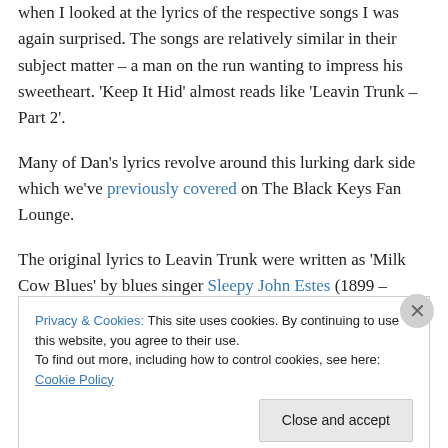when I looked at the lyrics of the respective songs I was again surprised. The songs are relatively similar in their subject matter – a man on the run wanting to impress his sweetheart. 'Keep It Hid' almost reads like 'Leavin Trunk – Part 2'.
Many of Dan's lyrics revolve around this lurking dark side which we've previously covered on The Black Keys Fan Lounge.
The original lyrics to Leavin Trunk were written as 'Milk Cow Blues' by blues singer Sleepy John Estes (1899 –
Privacy & Cookies: This site uses cookies. By continuing to use this website, you agree to their use.
To find out more, including how to control cookies, see here: Cookie Policy